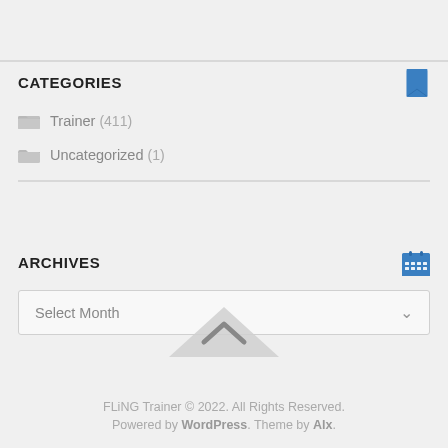CATEGORIES
Trainer (411)
Uncategorized (1)
ARCHIVES
Select Month
FLiNG Trainer © 2022. All Rights Reserved. Powered by WordPress. Theme by Alx.